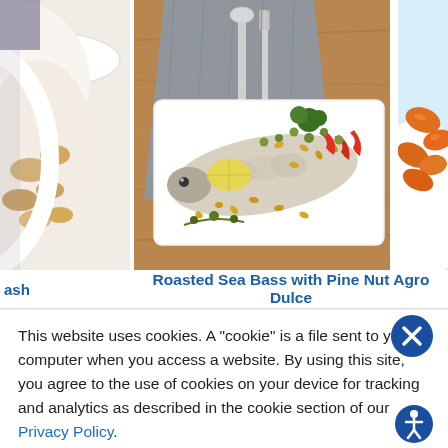[Figure (photo): Partial view of food dish in white bowl on left, cropped]
[Figure (photo): Roasted sea bass on white plate with pine nuts, capers, red peppers, herbs, on wooden table with gray cloth and silverware]
[Figure (photo): Partial view of orange/red food on white plate on blue background on right, cropped]
ash
Roasted Sea Bass with Pine Nut Agro Dulce
This website uses cookies. A "cookie" is a file sent to your computer when you access a website. By using this site, you agree to the use of cookies on your device for tracking and analytics as described in the cookie section of our Privacy Policy.